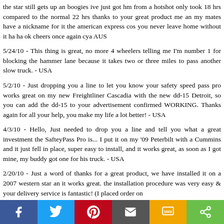the star still gets up an boogies ive just got hm from a hotshot only took 18 hrs compared to the normal 22 hrs thanks to your great product me an my mates have a nickname for it the american express cos you never leave home without it ha ha ok cheers once again cya AUS
5/24/10 - This thing is great, no more 4 wheelers telling me I'm number 1 for blocking the hammer lane because it takes two or three miles to pass another slow truck. - USA
5/2/10 - Just dropping you a line to let you know your safety speed pass pro works great on my new Freightliner Cascadia with the new dd-15 Detroit, so you can add the dd-15 to your advertisement confirmed WORKING. Thanks again for all your help, you make my life a lot better! - USA
4/3/10 - Hello, Just needed to drop you a line and tell you what a great investment the SafteyPass Pro is... I put it on my '09 Peterbilt with a Cummins and it just fell in place, super easy to install, and it works great, as soon as I got mine, my buddy got one for his truck. - USA
2/20/10 - Just a word of thanks for a great product, we have installed it on a 2007 western star an it works great. the installation procedure was very easy & your delivery service is fantastic! (I placed order on
[Figure (infographic): Social sharing bar with Facebook, Twitter, Pinterest, Email, SMS, and Share buttons]